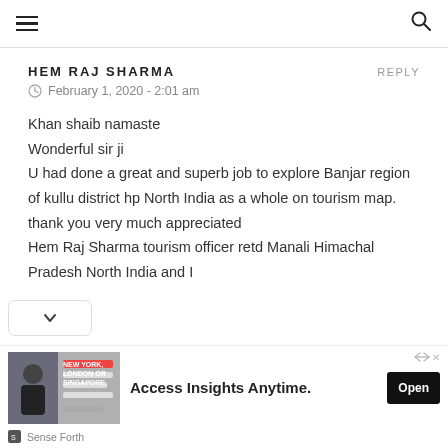Navigation bar with hamburger menu and search icon
HEM RAJ SHARMA
REPLY
February 1, 2020 - 2:01 am
Khan shaib namaste
Wonderful sir ji
U had done a great and superb job to explore Banjar region of kullu district hp North India as a whole on tourism map. thank you very much appreciated
Hem Raj Sharma tourism officer retd Manali Himachal Pradesh North India and I
[Figure (other): Advertisement banner: Access Insights Anytime. with Open button, Sense Forth branding]
Sense Forth